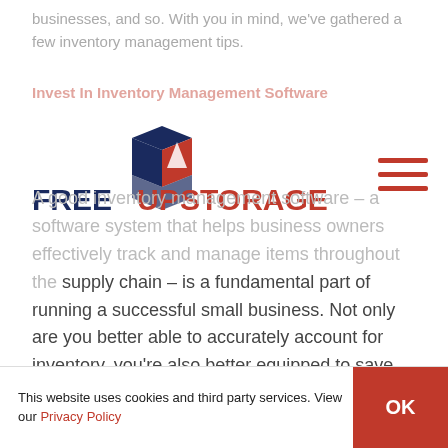businesses, and so. With you in mind, we've gathered a few inventory management tips.
Invest In Inventory Management Software
[Figure (logo): Free Up Storage logo with box icon, 'FREE UP' in navy and red, 'STORAGE' in red text]
A good inventory management software – a software system that helps business owners effectively track and manage items throughout the supply chain – is a fundamental part of running a successful small business. Not only are you better able to accurately account for inventory, you're also better equipped to save money and improve cash flow. While it may be tempting to try out the trendiest or cheapest software, make sure you review your options to ensure it's the right fit for you and your business.
This website uses cookies and third party services. View our Privacy Policy